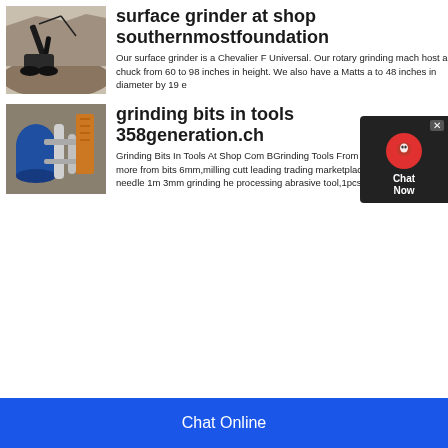[Figure (photo): Photo of a stone crushing or quarrying machine/excavator in an open pit]
surface grinder at shop southernmostfoundation
Our surface grinder is a Chevalier F Universal. Our rotary grinding mach host a chuck from 60 to 98 inches in height. We also have a Matts a to 48 inches in diameter by 19 e
[Figure (photo): Photo of industrial machinery with blue cylindrical tank and silver pipes]
grinding bits in tools 358generation.ch
Grinding Bits In Tools At Shop Com BGrinding Tools From . Shopping fo and more from bits 6mm,milling cutt leading trading marketplace from ch pointed needle 1m 3mm grinding he processing abrasive tool,1pcs 3mm
Chat Now
Chat Online